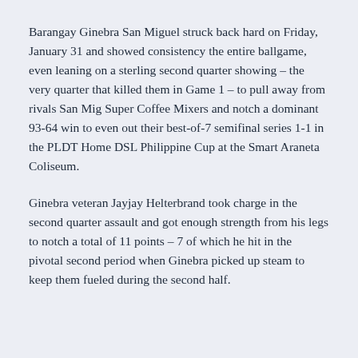Barangay Ginebra San Miguel struck back hard on Friday, January 31 and showed consistency the entire ballgame, even leaning on a sterling second quarter showing – the very quarter that killed them in Game 1 – to pull away from rivals San Mig Super Coffee Mixers and notch a dominant 93-64 win to even out their best-of-7 semifinal series 1-1 in the PLDT Home DSL Philippine Cup at the Smart Araneta Coliseum.
Ginebra veteran Jayjay Helterbrand took charge in the second quarter assault and got enough strength from his legs to notch a total of 11 points – 7 of which he hit in the pivotal second period when Ginebra picked up steam to keep them fueled during the second half.